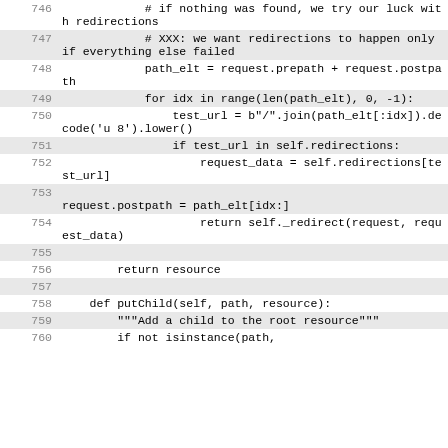Code listing lines 746-760, Python source code showing URL redirection logic
746: # if nothing was found, we try our luck with redirections
747: # XXX: we want redirections to happen only if everything else failed
748: path_elt = request.prepath + request.postpath
749: for idx in range(len(path_elt), 0, -1):
750: test_url = b"/".join(path_elt[:idx]).decode('u 8').lower()
751: if test_url in self.redirections:
752: request_data = self.redirections[test_url]
753: request.postpath = path_elt[idx:]
754: return self._redirect(request, request_data)
755: (empty)
756: return resource
757: (empty)
758: def putChild(self, path, resource):
759: """Add a child to the root resource"""
760: if not isinstance(path,